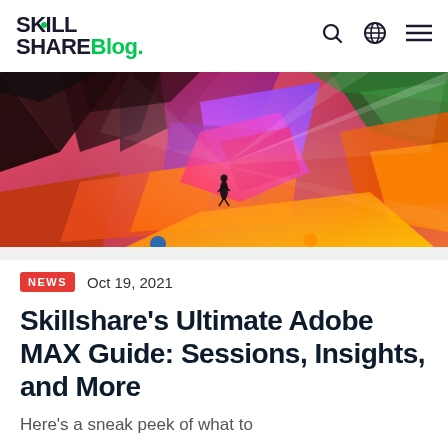Skill Share Blog.
[Figure (photo): Abstract colorful 3D geometric shapes with pink, purple, orange, and green colors. A small silhouetted figure stands in the center. The scene resembles an Adobe MAX promotional image with dramatic lighting and crystalline structures.]
NEWS   Oct 19, 2021
Skillshare's Ultimate Adobe MAX Guide: Sessions, Insights, and More
Here's a sneak peek of what to